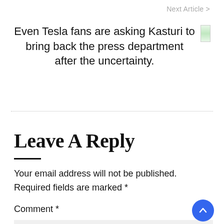Next Article >
Even Tesla fans are asking Kasturi to bring back the press department after the uncertainty.
Leave A Reply
Your email address will not be published. Required fields are marked *
Comment *